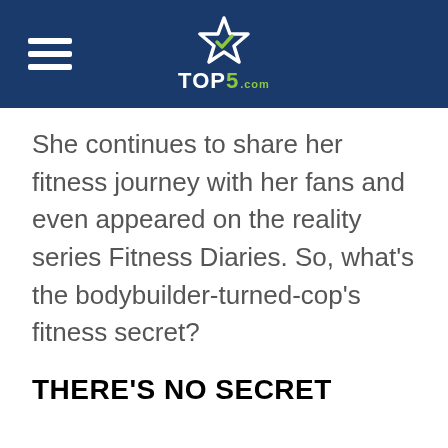TOP5.com
She continues to share her fitness journey with her fans and even appeared on the reality series Fitness Diaries. So, what's the bodybuilder-turned-cop's fitness secret?
THERE'S NO SECRET